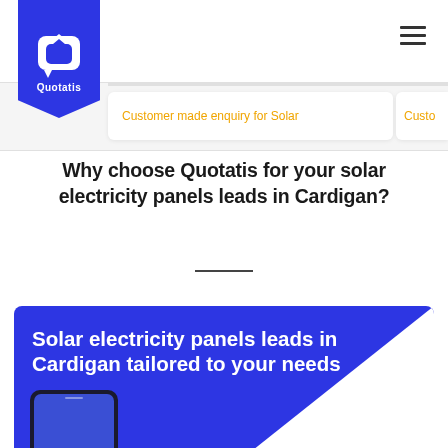[Figure (logo): Quotatis logo — white house icon in a blue pentagon badge with text 'Quotatis' below]
Customer made enquiry for Solar
Custo…
Why choose Quotatis for your solar electricity panels leads in Cardigan?
Solar electricity panels leads in Cardigan tailored to your needs